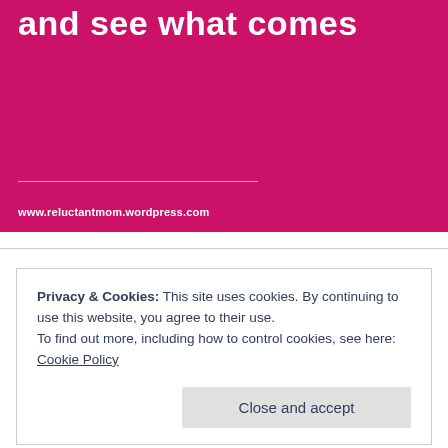and see what comes
www.reluctantmom.wordpress.com
Privacy & Cookies: This site uses cookies. By continuing to use this website, you agree to their use.
To find out more, including how to control cookies, see here: Cookie Policy
Close and accept